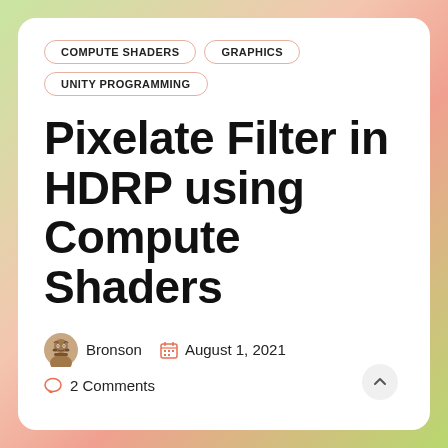COMPUTE SHADERS | GRAPHICS | UNITY PROGRAMMING
Pixelate Filter in HDRP using Compute Shaders
Bronson  August 1, 2021
2 Comments